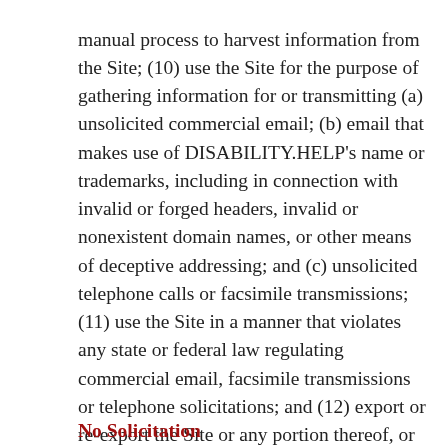manual process to harvest information from the Site; (10) use the Site for the purpose of gathering information for or transmitting (a) unsolicited commercial email; (b) email that makes use of DISABILITY.HELP's name or trademarks, including in connection with invalid or forged headers, invalid or nonexistent domain names, or other means of deceptive addressing; and (c) unsolicited telephone calls or facsimile transmissions; (11) use the Site in a manner that violates any state or federal law regulating commercial email, facsimile transmissions or telephone solicitations; and (12) export or re-export the Site or any portion thereof, or any software available on or through the Site, in violation of the export control laws and regulations of the United States.
No Solicitation